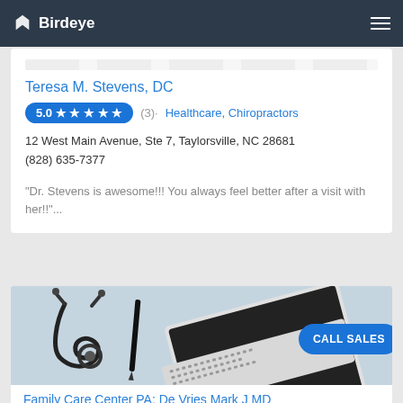Birdeye
Teresa M. Stevens, DC
5.0 ★ ★ ★ ★ ★ (3) · Healthcare, Chiropractors
12 West Main Avenue, Ste 7, Taylorsville, NC 28681
(828) 635-7377
"Dr. Stevens is awesome!!! You always feel better after a visit with her!!"...
[Figure (photo): Photo showing a stethoscope and laptop on a light blue background, representing a medical/healthcare setting]
CALL SALES
Family Care Center PA: De Vries Mark J MD